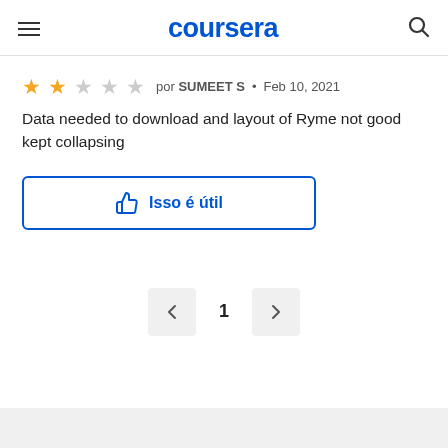coursera
★★☆☆☆ por SUMEET S • Feb 10, 2021
Data needed to download and layout of Ryme not good kept collapsing
Isso é útil
1